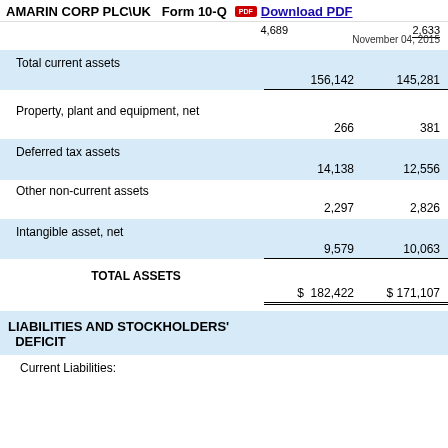AMARIN CORP PLC\UK   Form 10-Q   Download PDF
4,689   2,633   November 04, 2015
|  | Col1 | Col2 |
| --- | --- | --- |
| Total current assets | 156,142 | 145,281 |
| Property, plant and equipment, net | 266 | 381 |
| Deferred tax assets | 14,138 | 12,556 |
| Other non-current assets | 2,297 | 2,826 |
| Intangible asset, net | 9,579 | 10,063 |
| TOTAL ASSETS | $ 182,422 | $ 171,107 |
LIABILITIES AND STOCKHOLDERS' DEFICIT
Current Liabilities: